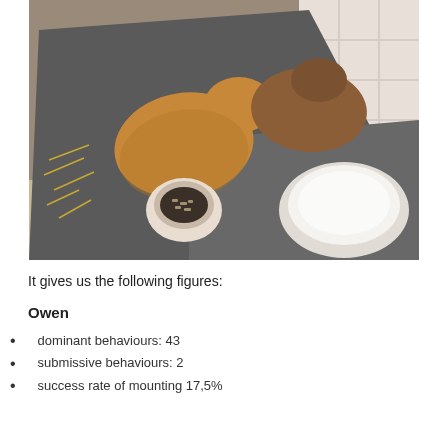[Figure (photo): Two rabbits (one orange/tan, one brown) huddled together on a dark grey blanket in a corner, with two ceramic bowls visible — a small bowl with pellets and a larger white bowl.]
It gives us the following figures:
Owen
dominant behaviours: 43
submissive behaviours: 2
success rate of mounting 17,5%